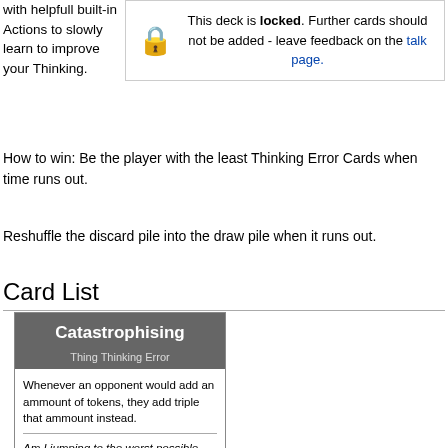with helpfull built-in Actions to slowly learn to improve your Thinking.
This deck is locked. Further cards should not be added - leave feedback on the talk page.
How to win: Be the player with the least Thinking Error Cards when time runs out.
Reshuffle the discard pile into the draw pile when it runs out.
Card List
[Figure (illustration): A card for Catastrophising: titled 'Catastrophising', subtitle 'Thing Thinking Error', body text 'Whenever an opponent would add an ammount of tokens, they add triple that ammount instead.', italic text 'Am I jumping to the worst possible conclusion?']